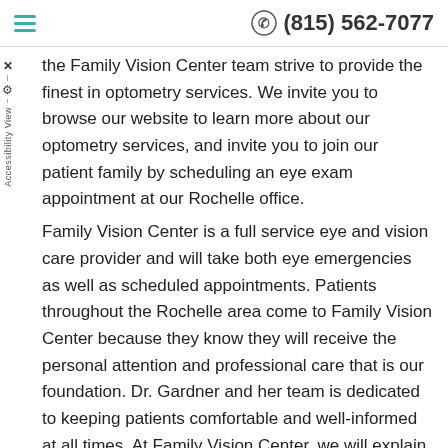(815) 562-7077
the Family Vision Center team strive to provide the finest in optometry services. We invite you to browse our website to learn more about our optometry services, and invite you to join our patient family by scheduling an eye exam appointment at our Rochelle office.

Family Vision Center is a full service eye and vision care provider and will take both eye emergencies as well as scheduled appointments. Patients throughout the Rochelle area come to Family Vision Center because they know they will receive the personal attention and professional care that is our foundation. Dr. Gardner and her team is dedicated to keeping patients comfortable and well-informed at all times. At Family Vision Center, we will explain every exam and procedure and answer all of your questions. Additionally, at Family Vision Center, we offer vision financing options and will work with vision and medical insurance providers to ensure good eye health and vision care for all of our patients.